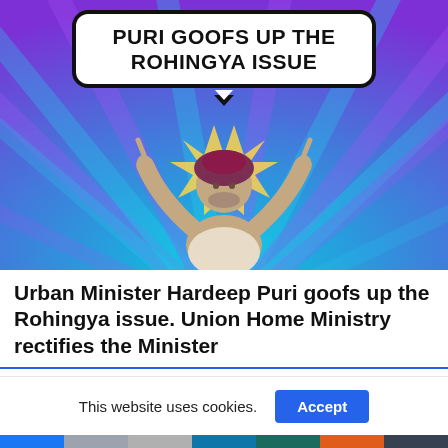[Figure (illustration): Meme image with purple/teal sunray background, a speech bubble reading 'PURI GOOFS UP THE ROHINGYA ISSUE', and a man in a turban with arms raised pointing upward]
Urban Minister Hardeep Puri goofs up the Rohingya issue. Union Home Ministry rectifies the Minister
This website uses cookies.
Accept